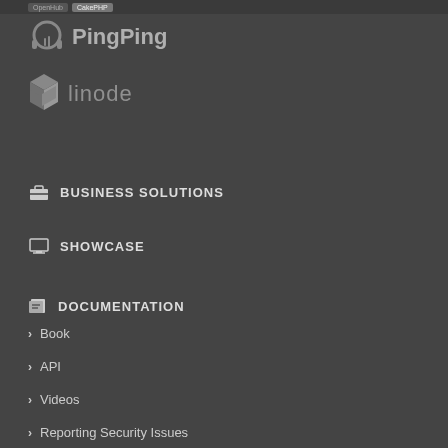OpenHub | CakePHP
[Figure (logo): PingPing logo with headphone icon and text PingPing]
[Figure (logo): Linode logo with 3D cube icon and text linode]
BUSINESS SOLUTIONS
SHOWCASE
DOCUMENTATION
Book
API
Videos
Reporting Security Issues
Privacy Policy